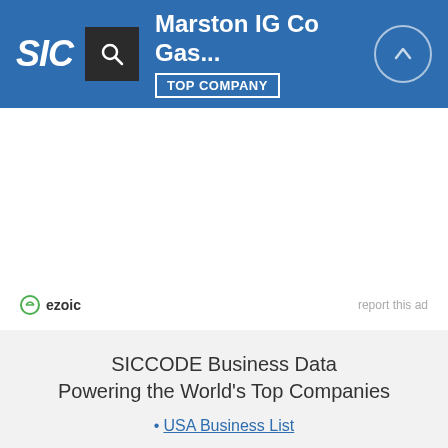SIC | Marston IG Co Gas... | TOP COMPANY
[Figure (logo): SIC website header with logo, search icon, company name 'Marston IG Co Gas...', TOP COMPANY badge, and up-arrow circle icon]
ezoic   report this ad
SICCODE Business Data Powering the World's Top Companies
USA Business List